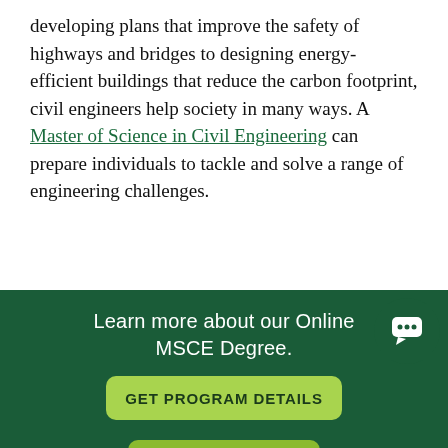developing plans that improve the safety of highways and bridges to designing energy-efficient buildings that reduce the carbon footprint, civil engineers help society in many ways. A Master of Science in Civil Engineering can prepare individuals to tackle and solve a range of engineering challenges.
A Day in the Life of a Civil Engineer
Learn more about our Online MSCE Degree.
GET PROGRAM DETAILS
APPLY NOW